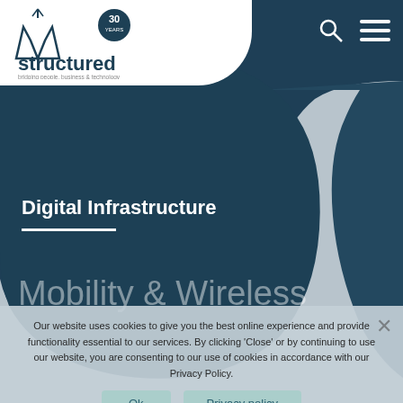[Figure (logo): Structured company logo with mountain/antenna icon and '30 years' badge, text 'bridging people, business & technology']
[Figure (other): Search icon (magnifying glass) and hamburger menu icon in white on dark teal header]
Digital Infrastructure
Mobility & Wireless
Our website uses cookies to give you the best online experience and provide functionality essential to our services. By clicking 'Close' or by continuing to use our website, you are consenting to our use of cookies in accordance with our Privacy Policy.
Ok
Privacy policy